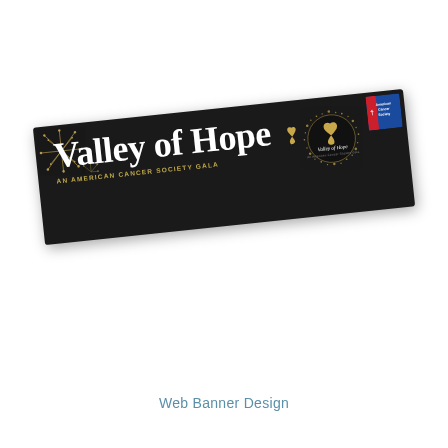[Figure (illustration): A web banner design for 'Valley of Hope — An American Cancer Society Gala', displayed at an angle on a white background. The banner has a dark/black background with gold firework decorations on the left, large white serif text reading 'Valley of Hope' with a gold ribbon accent, gold uppercase subtitle 'AN AMERICAN CANCER SOCIETY GALA', a circular glitter logo on the right side, and a small American Cancer Society badge in the top-right corner.]
Web Banner Design